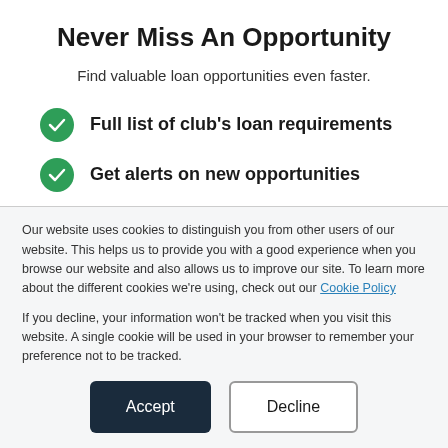Never Miss An Opportunity
Find valuable loan opportunities even faster.
Full list of club's loan requirements
Get alerts on new opportunities
Our website uses cookies to distinguish you from other users of our website. This helps us to provide you with a good experience when you browse our website and also allows us to improve our site. To learn more about the different cookies we're using, check out our Cookie Policy
If you decline, your information won't be tracked when you visit this website. A single cookie will be used in your browser to remember your preference not to be tracked.
Accept  Decline